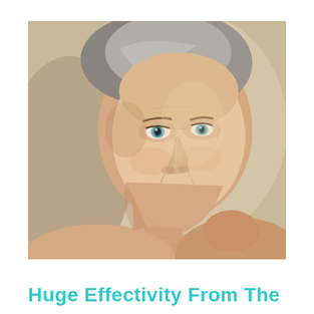[Figure (photo): Portrait of a middle-aged woman with silver-streaked hair pulled back, light blue-green eyes, wearing no clothing visible above shoulders, smiling gently against a beige/tan background. She has visible fine lines and wrinkles typical of mature skin. Her hand is partially visible near her shoulder.]
Huge Effectivity From The